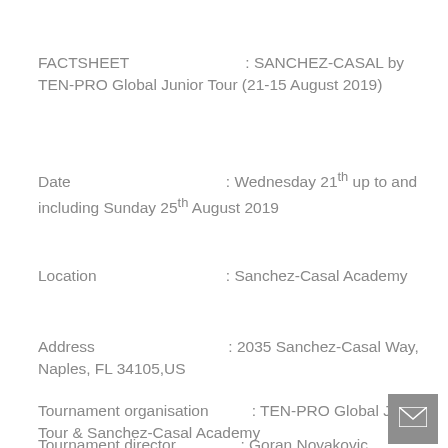FACTSHEET : SANCHEZ-CASAL by TEN-PRO Global Junior Tour (21-15 August 2019)
Date : Wednesday 21th up to and including Sunday 25th August 2019
Location : Sanchez-Casal Academy
Address : 2035 Sanchez-Casal Way, Naples, FL 34105,US
Tournament organisation : TEN-PRO Global Junior Tour & Sanchez-Casal Academy
Tournament director : Goran Novakovic